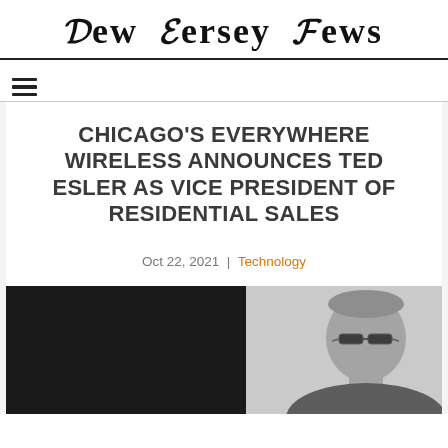New Jersey News
CHICAGO'S EVERYWHERE WIRELESS ANNOUNCES TED ESLER AS VICE PRESIDENT OF RESIDENTIAL SALES
Oct 22, 2021 | Technology
[Figure (photo): Black and white photo of a man with glasses, partially visible, against a light background]